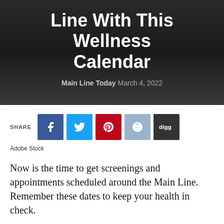[Figure (photo): Dark background hero image with a person in shadow, showing hands/lap area in dim lighting]
Line With This Wellness Calendar
Main Line Today March 4, 2022
[Figure (infographic): Social share buttons: Facebook, Twitter, Pinterest, Reddit, Digg]
Adobe Stock
Now is the time to get screenings and appointments scheduled around the Main Line. Remember these dates to keep your health in check.
MARCH